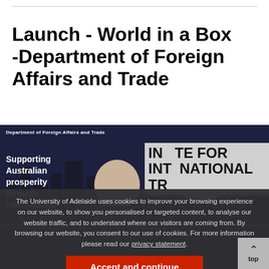Launch - World in a Box -Department of Foreign Affairs and Trade
[Figure (photo): Two men standing in front of a Department of Foreign Affairs and Trade backdrop and an Institute for International Trade banner. Text on backdrop reads 'Supporting Australian prosperity through international...'. One man is in a dark suit, the other in a dark shirt.]
The University of Adelaide uses cookies to improve your browsing experience on our website, to show you personalised or targeted content, to analyse our website traffic, and to understand where our visitors are coming from. By browsing our website, you consent to our use of cookies. For more information please read our privacy statement.